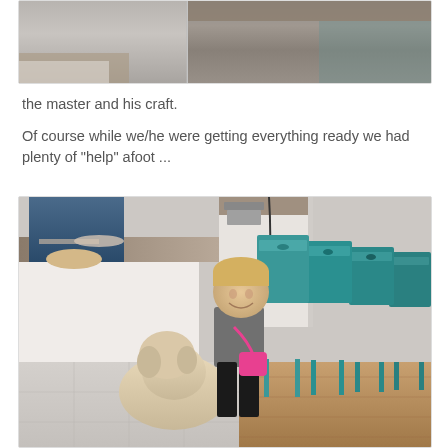[Figure (photo): Kitchen scene showing a person working at a counter, partial view of kitchen with granite countertops and white cabinets]
the master and his craft.
Of course while we/he were getting everything ready we had plenty of "help" afoot ...
[Figure (photo): A smiling toddler with blonde hair wearing a gray outfit and pink purse, standing next to a cream-colored puppy/dog. Behind them are teal metal bar stools and a kitchen island. An adult in a blue shirt is working at the counter in the background.]